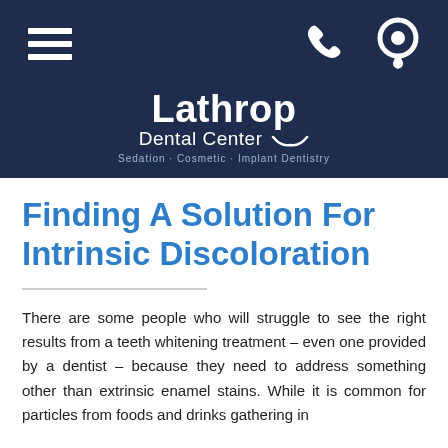[Figure (logo): Lathrop Dental Center logo with hamburger menu icon, phone icon, and location pin icon on dark navy background. Logo reads 'Lathrop Dental Center' with tagline 'Sedation · Cosmetic · Implant Dentistry']
Finding A Solution For Intrinsic Discoloration
There are some people who will struggle to see the right results from a teeth whitening treatment – even one provided by a dentist – because they need to address something other than extrinsic enamel stains. While it is common for particles from foods and drinks gathering in